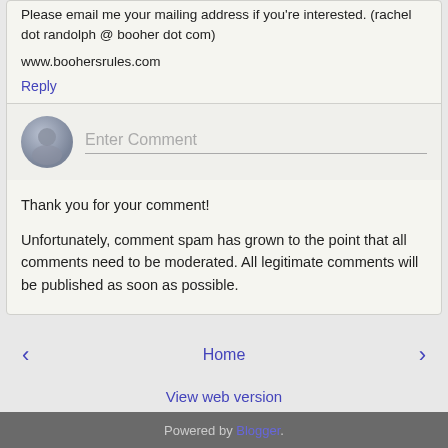Please email me your mailing address if you're interested. (rachel dot randolph @ booher dot com)
www.boohersrules.com
Reply
[Figure (other): User avatar circle icon with input field labeled Enter Comment]
Thank you for your comment!
Unfortunately, comment spam has grown to the point that all comments need to be moderated. All legitimate comments will be published as soon as possible.
‹   Home   ›
View web version
Powered by Blogger.